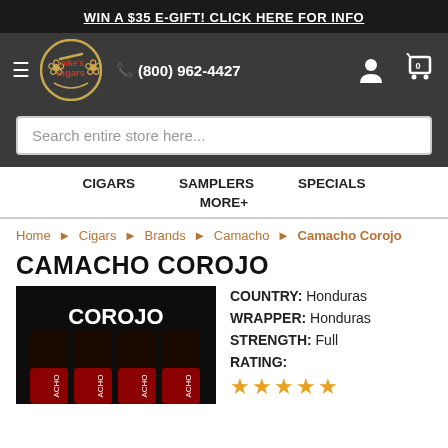WIN A $35 E-GIFT! CLICK HERE FOR INFO
[Figure (screenshot): Mike's Cigars logo with laurel wreath and hamburger menu, phone number (800) 962-4427, user and cart icons]
Search entire store here...
CIGARS   SAMPLERS   SPECIALS   MORE+
Home > Cigars > Brands > Camacho > Camacho Corojo
CAMACHO COROJO
[Figure (photo): Camacho Corojo cigar box image showing COROJO text in white on dark background with red and dark cigar tubes]
COUNTRY: Honduras
WRAPPER: Honduras
STRENGTH: Full
RATING: ★★★★★